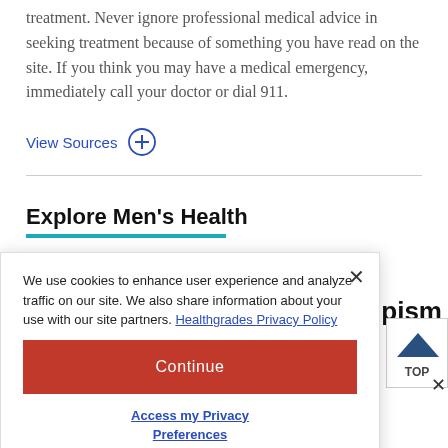treatment. Never ignore professional medical advice in seeking treatment because of something you have read on the site. If you think you may have a medical emergency, immediately call your doctor or dial 911.
View Sources
Explore Men's Health
We use cookies to enhance user experience and analyze traffic on our site. We also share information about your use with our site partners. Healthgrades Privacy Policy
Continue
Access my Privacy Preferences
ipism
Everything You Need to